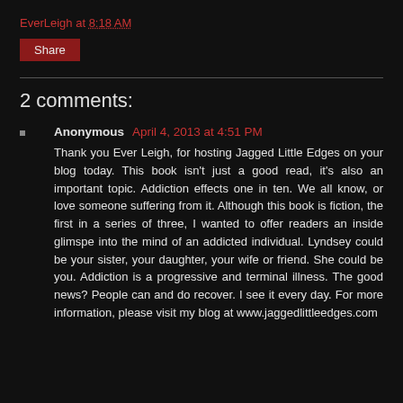EverLeigh at 8:18 AM
Share
2 comments:
Anonymous April 4, 2013 at 4:51 PM
Thank you Ever Leigh, for hosting Jagged Little Edges on your blog today. This book isn't just a good read, it's also an important topic. Addiction effects one in ten. We all know, or love someone suffering from it. Although this book is fiction, the first in a series of three, I wanted to offer readers an inside glimspe into the mind of an addicted individual. Lyndsey could be your sister, your daughter, your wife or friend. She could be you. Addiction is a progressive and terminal illness. The good news? People can and do recover. I see it every day. For more information, please visit my blog at www.jaggedlittleedges.com